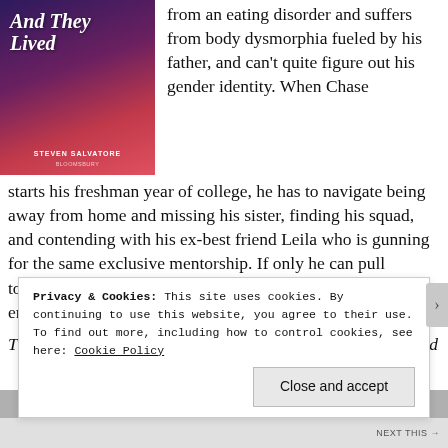[Figure (illustration): Book cover of 'And They Lived' by Steven Salvatore, published by Bloomsbury. Dark purple to red gradient background with illustrated characters embracing.]
from an eating disorder and suffers from body dysmorphia fueled by his father, and can't quite figure out his gender identity. When Chase starts his freshman year of college, he has to navigate being away from home and missing his sister, finding his squad, and contending with his ex-best friend Leila who is gunning for the same exclusive mentorship. If only he can pull together a short for the freshman animation showcase at the end of the semester.
Privacy & Cookies: This site uses cookies. By continuing to use this website, you agree to their use.
To find out more, including how to control cookies, see here: Cookie Policy
Close and accept